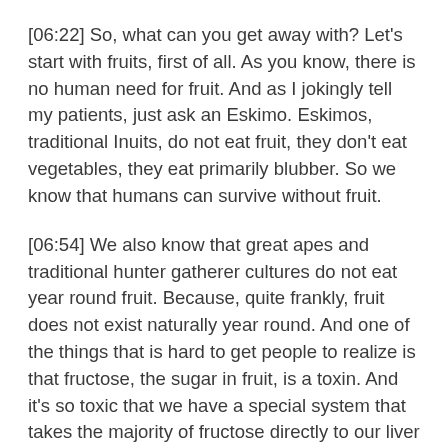[06:22] So, what can you get away with? Let's start with fruits, first of all. As you know, there is no human need for fruit. And as I jokingly tell my patients, just ask an Eskimo. Eskimos, traditional Inuits, do not eat fruit, they don't eat vegetables, they eat primarily blubber. So we know that humans can survive without fruit.
[06:54] We also know that great apes and traditional hunter gatherer cultures do not eat year round fruit. Because, quite frankly, fruit does not exist naturally year round. And one of the things that is hard to get people to realize is that fructose, the sugar in fruit, is a toxin. And it's so toxic that we have a special system that takes the majority of fructose directly to our liver where it is detoxified into triglycerides, which is a fat, and uric acid, which causes gout.
[07:41] And it shocks a lot of my patients with gout or high uric acid levels that fruit or concentrated fruit like